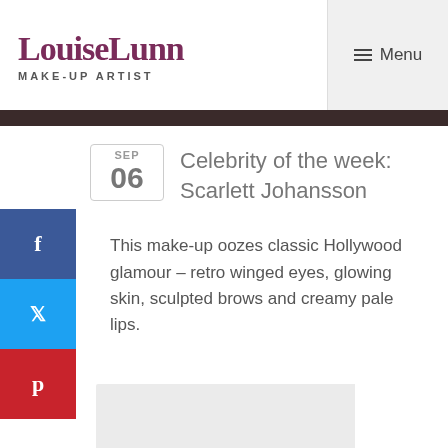LouiseLunn MAKE-UP ARTIST
Celebrity of the week: Scarlett Johansson
This make-up oozes classic Hollywood glamour – retro winged eyes, glowing skin, sculpted brows and creamy pale lips.
[Figure (photo): Image placeholder (light grey rectangle with white corner box)]